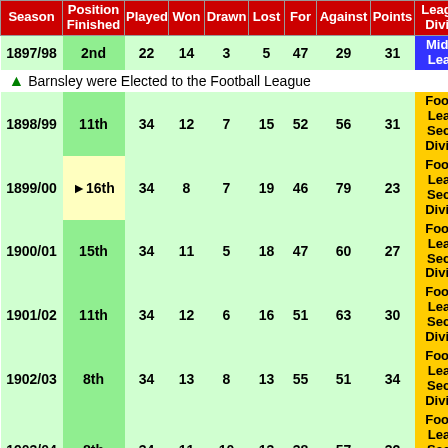| Season | Position Finished | Played | Won | Drawn | Lost | For | Against | Points | League & Division |
| --- | --- | --- | --- | --- | --- | --- | --- | --- | --- |
| 1897/98 | 2nd | 22 | 14 | 3 | 5 | 47 | 29 | 31 | Midland League |
| (election) | Barnsley were Elected to the Football League |  |  |  |  |  |  |  |  |
| 1898/99 | 11th | 34 | 12 | 7 | 15 | 52 | 56 | 31 | Football League Second Division |
| 1899/00 | ►16th | 34 | 8 | 7 | 19 | 46 | 79 | 23 | Football League Second Division |
| 1900/01 | 15th | 34 | 11 | 5 | 18 | 47 | 60 | 27 | Football League Second Division |
| 1901/02 | 11th | 34 | 12 | 6 | 16 | 51 | 63 | 30 | Football League Second Division |
| 1902/03 | 8th | 34 | 13 | 8 | 13 | 55 | 51 | 34 | Football League Second Division |
| 1903/04 | 8th | 34 | 11 | 10 | 13 | 38 | 57 | 32 | Football League Second Division |